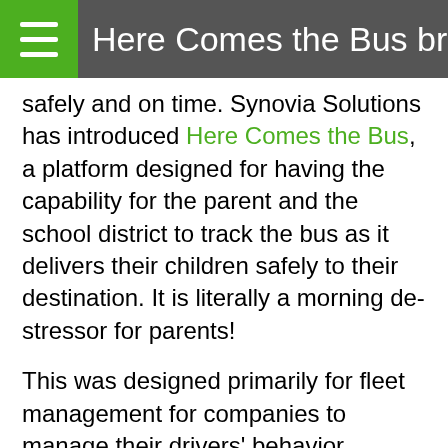Here Comes the Bus brings ad
safely and on time. Synovia Solutions has introduced Here Comes the Bus, a platform designed for having the capability for the parent and the school district to track the bus as it delivers their children safely to their destination. It is literally a morning de-stressor for parents!
This was designed primarily for fleet management for companies to manage their drivers' behavior, progress, and patterns. They have developed an app for the school districts all over the country to also be able to track the drivers of school buses as they transport the students to school and home again. They have 900 school districts that are involved! It offers an app for parents to also observe the same thing. Now they can watch the bus' activity and follow it on the route. They will